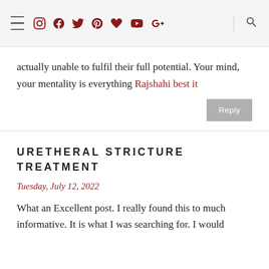Navigation bar with hamburger menu, social icons (Instagram, Facebook, Twitter, Pinterest, Heart, YouTube, Google+), and search icon
actually unable to fulfil their full potential. Your mind, your mentality is everything Rajshahi best it
Reply
URETHERAL STRICTURE TREATMENT
Tuesday, July 12, 2022
What an Excellent post. I really found this to much informative. It is what I was searching for. I would